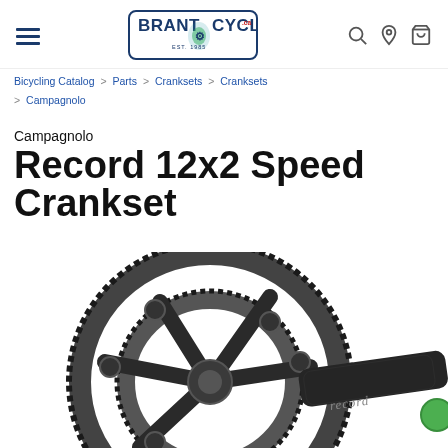Brant Cycle - Navigation header with hamburger menu, logo, search, location, and cart icons
Bicycling Catalog > Parts > Cranksets > Cranksets > Campagnolo
Campagnolo Record 12x2 Speed Crankset
[Figure (photo): Campagnolo Record 12x2 Speed Crankset product photo showing carbon fiber double chainring crankset with 'record' text on the arm, photographed against white background]